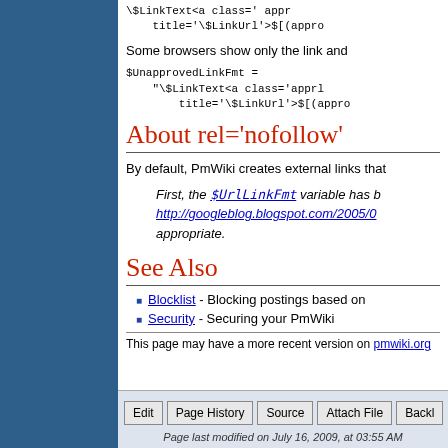\$LinkText<a class='apprl... title='\$LinkUrl'>$[(appro
Some browsers show only the link and... $UnapprovedLinkFmt = "\$LinkText<a class='apprl... title='\$LinkUrl'>$[(appro
About rel='nofollow'
By default, PmWiki creates external links that
First, the $UrlLinkFmt variable has b... http://googleblog.blogspot.com/2005/0... appropriate.
See Also
Blocklist - Blocking postings based on
Security - Securing your PmWiki
This page may have a more recent version on pmwiki.org
Edit | Page History | Source | Attach File | Backl... | Page last modified on July 16, 2009, at 03:55 AM